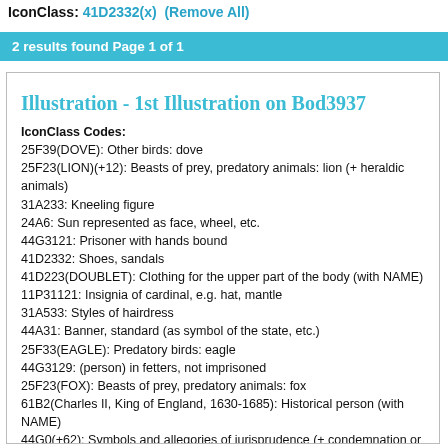IconClass: 41D2332(x)  (Remove All)
2 results found Page 1 of 1
Illustration - 1st Illustration on Bod3937
IconClass Codes:
25F39(DOVE): Other birds: dove
25F23(LION)(+12): Beasts of prey, predatory animals: lion (+ heraldic animals)
31A233: Kneeling figure
24A6: Sun represented as face, wheel, etc.
44G3121: Prisoner with hands bound
41D2332: Shoes, sandals
41D223(DOUBLET): Clothing for the upper part of the body (with NAME)
11P31121: Insignia of cardinal, e.g. hat, mantle
31A533: Styles of hairdress
44A31: Banner, standard (as symbol of the state, etc.)
25F33(EAGLE): Predatory birds: eagle
44G3129: (person) in fetters, not imprisoned
25F23(FOX): Beasts of prey, predatory animals: fox
61B2(Charles II, King of England, 1630-1685): Historical person (with NAME)
44G0(+62): Symbols and allegories of jurisprudence (+ condemnation or punishment of the guiltless)
44B62(+02): Bad government
52AA51(+11): Folly, Foolishness; 'Pazzia', 'Sciocchezza', 'Stoltitia' (Ripa) (+ abstract concept represented by female figure)